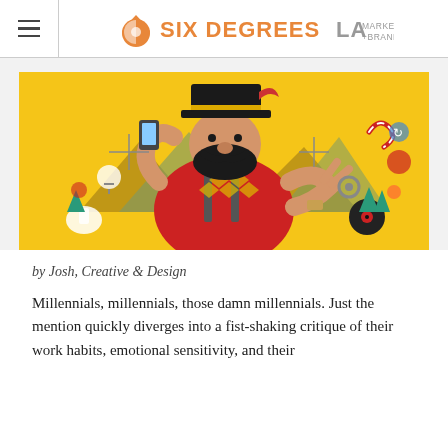SIX DEGREES LA MARKETING + BRANDING
[Figure (illustration): Colorful illustrated character of a bearded hipster lumberjack man with a mustache wearing a red plaid shirt and black hat, surrounded by various icons and objects on a yellow background]
by Josh, Creative & Design
Millennials, millennials, those damn millennials. Just the mention quickly diverges into a fist-shaking critique of their work habits, emotional sensitivity, and their